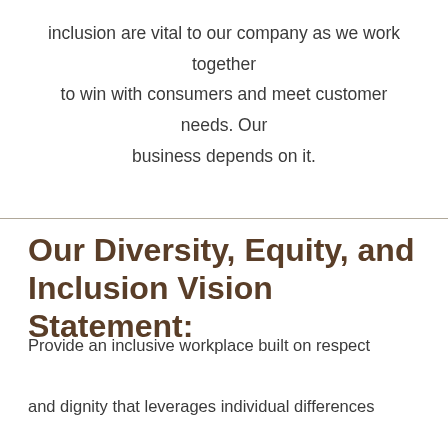inclusion are vital to our company as we work together to win with consumers and meet customer needs. Our business depends on it.
Our Diversity, Equity, and Inclusion Vision Statement:
Provide an inclusive workplace built on respect and dignity that leverages individual differences and generates equal opportunities for everyone and enables us to win with consumers. We achieve this by: